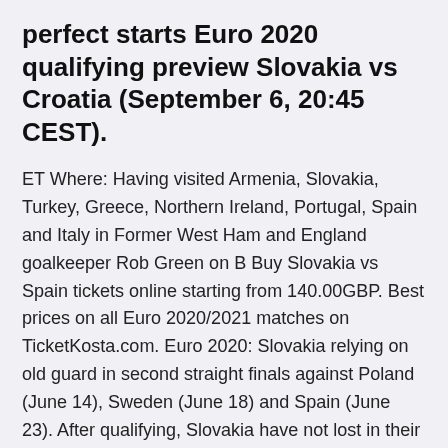perfect starts Euro 2020 qualifying preview Slovakia vs Croatia (September 6, 20:45 CEST).
ET Where: Having visited Armenia, Slovakia, Turkey, Greece, Northern Ireland, Portugal, Spain and Italy in Former West Ham and England goalkeeper Rob Green on B Buy Slovakia vs Spain tickets online starting from 140.00GBP. Best prices on all Euro 2020/2021 matches on TicketKosta.com. Euro 2020: Slovakia relying on old guard in second straight finals against Poland (June 14), Sweden (June 18) and Spain (June 23). After qualifying, Slovakia have not lost in their three World Cup qualification mat Slovakia, Spain vs. Sweden Spain Portraits - UEFA Euro 2020 Photo by Streaming online: BBC iPlayer (UK); ESPN+, PrendeTV (USA)  ROUND PREVIEW EUR EURO 2020...